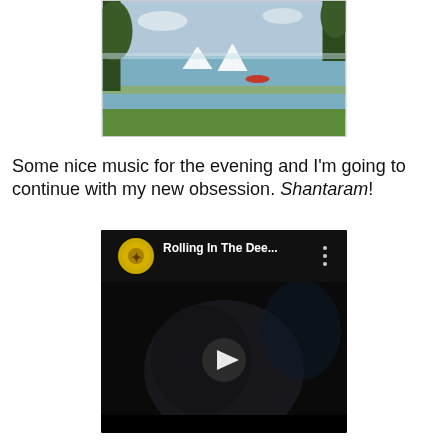[Figure (photo): Outdoor lake scene with sailboats on calm water, green grass in foreground and trees framing the shot]
Some nice music for the evening and I'm going to continue with my new obsession. Shantaram!
[Figure (screenshot): YouTube video thumbnail showing 'Rolling In The Dee...' with a yellow circular logo icon on the left, three-dot menu on the right, dark video frame with a play button in the center showing a person in low-light scene]